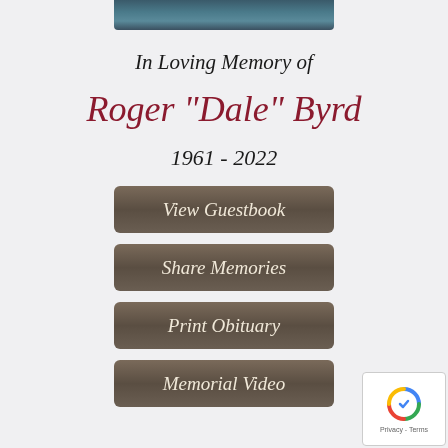[Figure (photo): Partial photo of a person, cropped at the top of the page]
In Loving Memory of
Roger "Dale" Byrd
1961 - 2022
View Guestbook
Share Memories
Print Obituary
Memorial Video